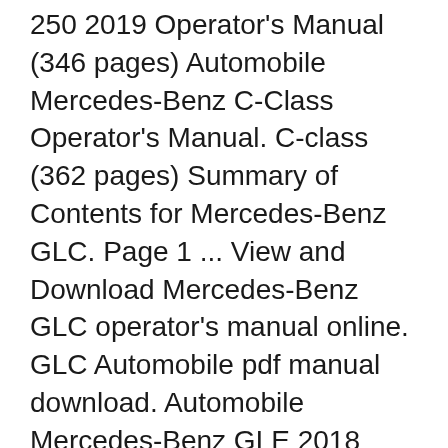250 2019 Operator's Manual (346 pages) Automobile Mercedes-Benz C-Class Operator's Manual. C-class (362 pages) Summary of Contents for Mercedes-Benz GLC. Page 1 ... View and Download Mercedes-Benz GLC operator's manual online. GLC Automobile pdf manual download. Automobile Mercedes-Benz GLE 2018 Supplement To The Owner's Manual (29 pages) Automobile Mercedes-Benz GLA 250 2019 Operator's Manual (346 pages) Automobile Mercedes-Benz C-Class Operator's Manual. C-class (362 pages) Summary of Contents for Mercedes-Benz GLC. Page 1 ...
View and Download Mercedes-Benz GLC